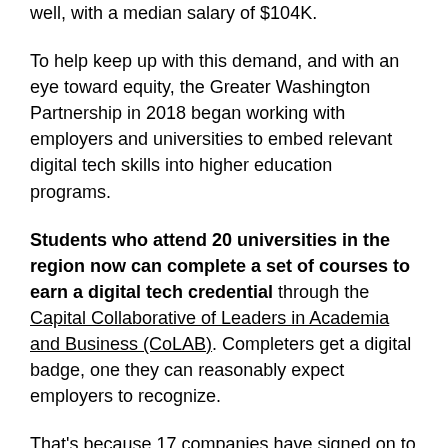well, with a median salary of $104K.
To help keep up with this demand, and with an eye toward equity, the Greater Washington Partnership in 2018 began working with employers and universities to embed relevant digital tech skills into higher education programs.
Students who attend 20 universities in the region now can complete a set of courses to earn a digital tech credential through the Capital Collaborative of Leaders in Academia and Business (CoLAB). Completers get a digital badge, one they can reasonably expect employers to recognize.
That's because 17 companies have signed on to the project, including biggies like Amazon, Northrop Grumman, T. Rowe Price, and MedStar Health.